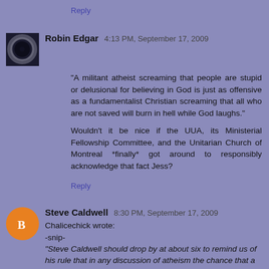Reply
Robin Edgar  4:13 PM, September 17, 2009
"A militant atheist screaming that people are stupid or delusional for believing in God is just as offensive as a fundamentalist Christian screaming that all who are not saved will burn in hell while God laughs."
Wouldn't it be nice if the UUA, its Ministerial Fellowship Committee, and the Unitarian Church of Montreal *finally* got around to responsibly acknowledge that fact Jess?
Reply
Steve Caldwell  8:30 PM, September 17, 2009
Chalicechick wrote:
-snip-
"Steve Caldwell should drop by at about six to remind us of his rule that in any discussion of atheism the chance that a Christian fundamentalism comparison will occur rises with